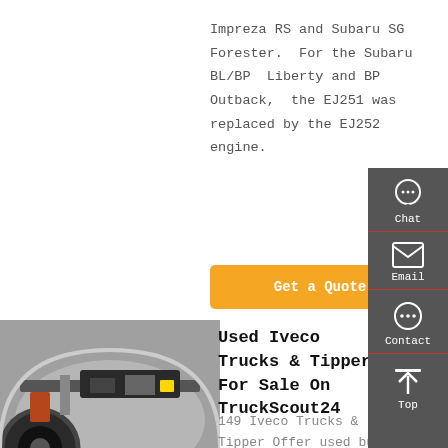Impreza RS and Subaru SG Forester. For the Subaru BL/BP Liberty and BP Outback, the EJ251 was replaced by the EJ252 engine.
Get a Quote
[Figure (photo): Close-up photo of a truck wheel arch and chassis, showing the wheel, suspension and undercarriage components in grey and dark tones.]
Used Iveco Trucks & Tipper For Sale On TruckScout24
149 Iveco Trucks & Tipper Offer used buy on
[Figure (infographic): Right sidebar with dark grey background containing Chat, Email, Contact, and Top navigation icons in white with divider lines.]